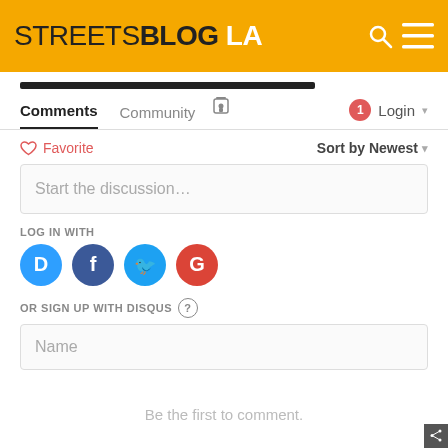STREETSBLOG LA
Comments
Community
1  Login
Favorite
Sort by Newest
Start the discussion…
LOG IN WITH
OR SIGN UP WITH DISQUS
Name
Be the first to comment.